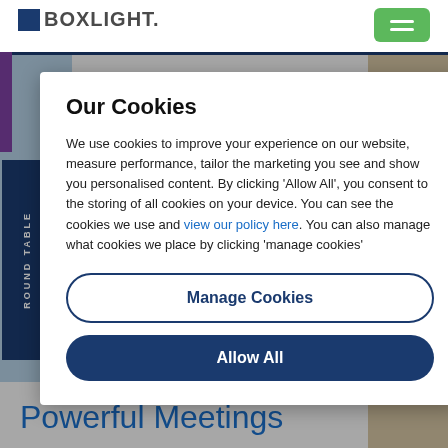[Figure (screenshot): Boxlight website navigation bar with logo and green hamburger menu button]
Our Cookies
We use cookies to improve your experience on our website, measure performance, tailor the marketing you see and show you personalised content. By clicking 'Allow All', you consent to the storing of all cookies on your device. You can see the cookies we use and view our policy here. You can also manage what cookies we place by clicking 'manage cookies'
Manage Cookies
Allow All
Powerful Meetings